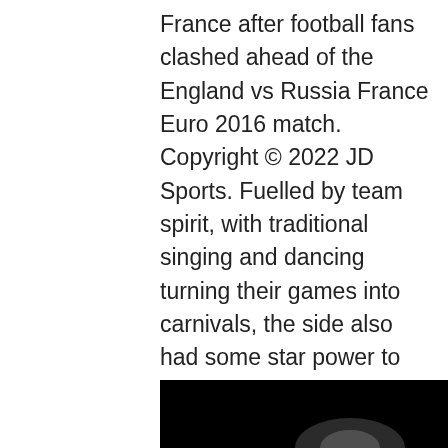France after football fans clashed ahead of the England vs Russia France Euro 2016 match. Copyright © 2022 JD Sports. Fuelled by team spirit, with traditional singing and dancing turning their games into carnivals, the side also had some star power to call on, as former Liverpool goalkeeper Bruce Grobbelaar helped out with coaching duties. Visit our Shipping Policy for more information. Sorry, something went wrong.
[Figure (photo): Partially visible photograph with black background, showing the top portion of what appears to be a person or figure, cropped at the bottom of the page.]